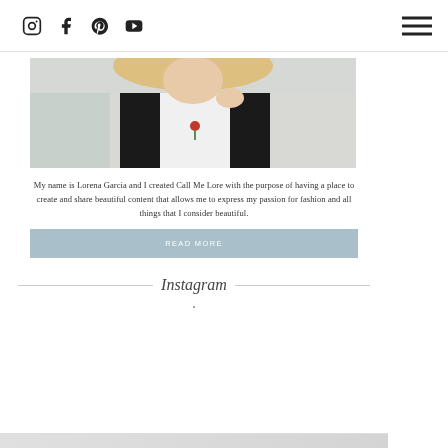Social icons: Instagram, Facebook, Pinterest, YouTube; Hamburger menu
[Figure (photo): Photo of a woman (Lorena Garcia) wearing a black leather jacket over a white t-shirt with a red rose embroidery, holding the lapel of the jacket]
My name is Lorena Garcia and I created Call Me Lore with the purpose of having a place to create and share beautiful content that allows me to express my passion for fashion and all things that I consider beautiful.
READ MORE
Instagram